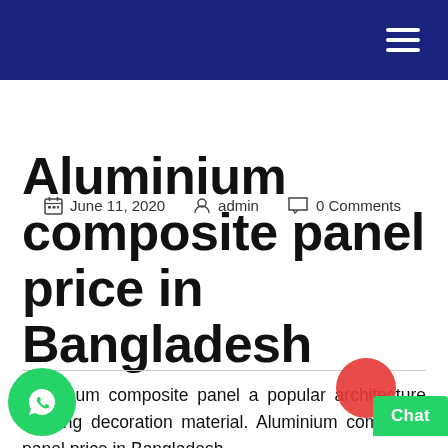Navigation header bar with hamburger menu
June 11, 2020   admin   0 Comments
Aluminium composite panel price in Bangladesh
Aluminum composite panel a popular architecture building decoration material. Aluminium composite panel price in Bangladesh according to total acm panel thickness, aluminum thickness and plastic core.If yo